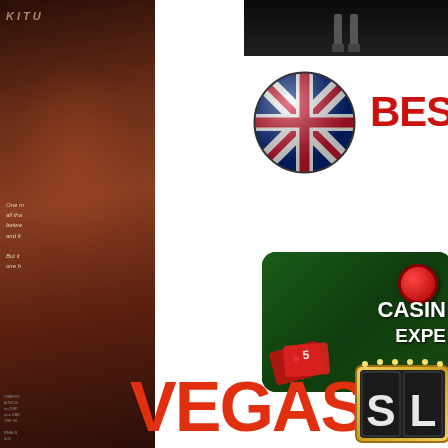[Figure (photo): Left strip showing a dark reddish movie poster background with partial text and moody atmospheric imagery. Contains poster text fragments and small credits at bottom.]
[Figure (photo): Top right dark photo showing what appears to be legs/feet against a dark background.]
[Figure (illustration): UK / British flag rendered as a glossy 3D circular badge/button icon.]
BEST
[Figure (photo): Casino themed image showing poker chips and green felt table with text overlay reading 'CASINO EXPE...' in white.]
VEGAS
[Figure (illustration): Slot machine reels styled graphic showing 'SL...' letters in a Las Vegas sign style frame with gold border.]